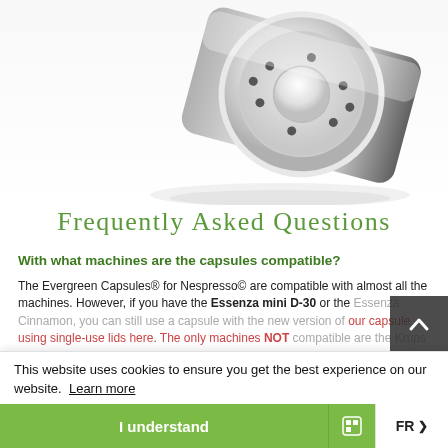[Figure (photo): Close-up photo of a silver Nespresso-compatible capsule bottom with small holes, tilted at an angle showing its metallic reflective surface on a white background]
Frequently Asked Questions
With what machines are the capsules compatible?
The Evergreen Capsules® for Nespresso© are compatible with almost all the machines. However, if you have the Essenza mini D-30 or the Essenza Cinnamon, you can still use a capsule with the new version of our capsule using single-use lids here. The only machines NOT compatible are the Krups Essenza Mini family XN2000–2100 (older version), the Mi-schishore, the Delonghi EN97, Maximix M100, and the Essenza C100.
This website uses cookies to ensure you get the best experience on our website. Learn more
I understand
FR >